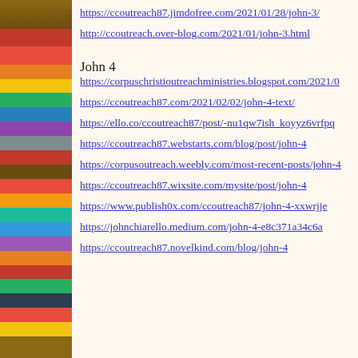https://ccoutreach87.jimdofree.com/2021/01/28/john-3/
http://ccoutreach.over-blog.com/2021/01/john-3.html
John 4
https://corpuschristioutreachministries.blogspot.com/2021/0
https://ccoutreach87.com/2021/02/02/john-4-text/
https://ello.co/ccoutreach87/post/-nu1qw7ish_koyyz6vrfpq
https://ccoutreach87.webstarts.com/blog/post/john-4
https://corpusoutreach.weebly.com/most-recent-posts/john-4
https://ccoutreach87.wixsite.com/mysite/post/john-4
https://www.publish0x.com/ccoutreach87/john-4-xxwrjje
https://johnchiarello.medium.com/john-4-e8c371a34c6a
https://ccoutreach87.novelkind.com/blog/john-4